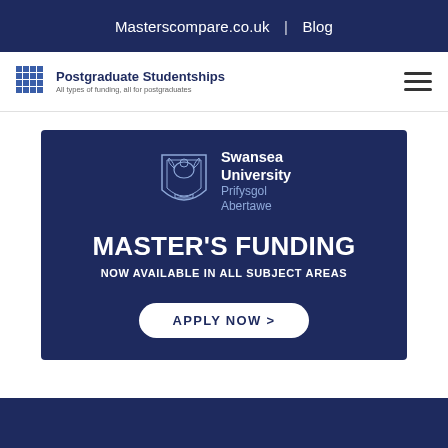Masterscompare.co.uk | Blog
[Figure (logo): Postgraduate Studentships logo with grid icon and tagline: All types of funding, all for postgraduates]
[Figure (infographic): Swansea University / Prifysgol Abertawe advertisement banner: MASTER'S FUNDING NOW AVAILABLE IN ALL SUBJECT AREAS with APPLY NOW button]